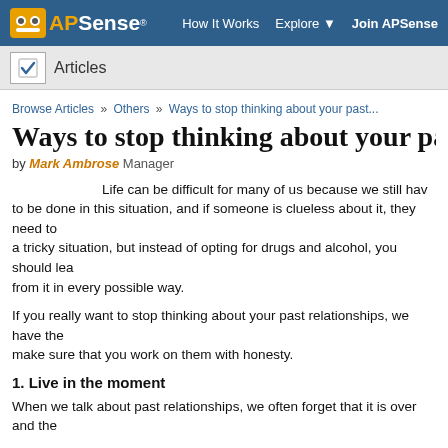APSense® | How It Works  Explore  Join APSense
Articles
Browse Articles » Others » Ways to stop thinking about your past...
Ways to stop thinking about your past r
by Mark Ambrose Manager
Life can be difficult for many of us because we still hav... to be done in this situation, and if someone is clueless about it, they need to... a tricky situation, but instead of opting for drugs and alcohol, you should lea... from it in every possible way.
If you really want to stop thinking about your past relationships, we have the... make sure that you work on them with honesty.
1. Live in the moment
When we talk about past relationships, we often forget that it is over and the...